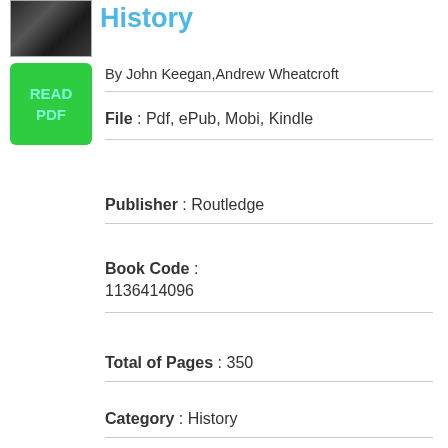[Figure (photo): Small book cover thumbnail showing a dark image]
History
[Figure (other): Green READ PDF button]
By John Keegan,Andrew Wheatcroft
File : Pdf, ePub, Mobi, Kindle
Publisher : Routledge
Book Code : 1136414096
Total of Pages : 350
Category : History
Members : 643
Pdf File: who-s-who-in-